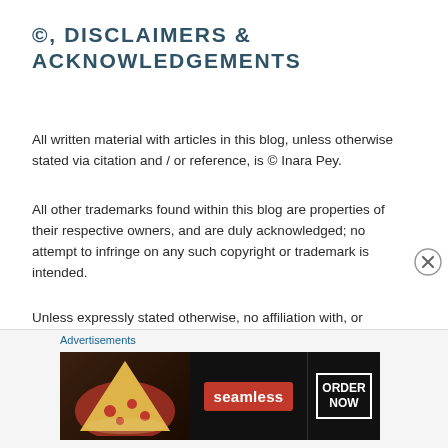©, DISCLAIMERS & ACKNOWLEDGEMENTS
All written material with articles in this blog, unless otherwise stated via citation and / or reference, is © Inara Pey.
All other trademarks found within this blog are properties of their respective owners, and are duly acknowledged; no attempt to infringe on any such copyright or trademark is intended.
Unless expressly stated otherwise, no affiliation with, or sponsorship by, any platform or entity mentioned in these pages should be assumed.
Comments submitted to these pages represent the views and opinions of those authoring them, and do not constitute any endorsement on the part of the author of this blog.
Advertisements
[Figure (other): Seamless food delivery advertisement banner with pizza image on left, red Seamless logo in center, and ORDER NOW button on right, dark background.]